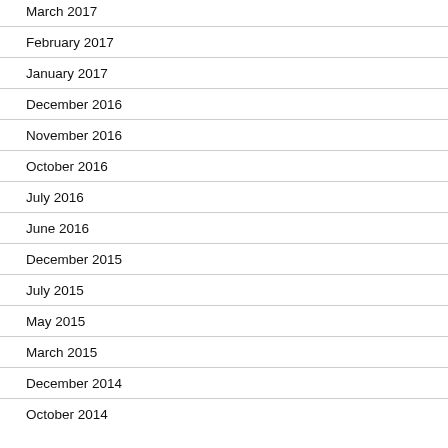March 2017
February 2017
January 2017
December 2016
November 2016
October 2016
July 2016
June 2016
December 2015
July 2015
May 2015
March 2015
December 2014
October 2014